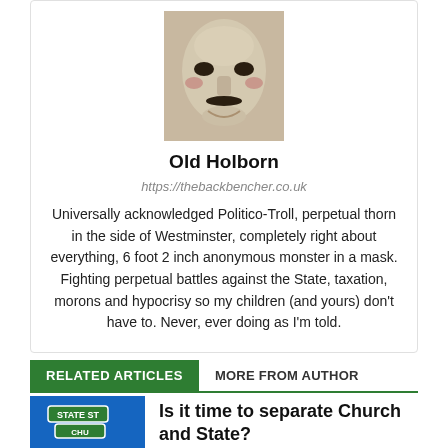[Figure (photo): Profile photo showing a Guy Fawkes / V for Vendetta mask — a white mask with distinctive features.]
Old Holborn
https://thebackbencher.co.uk
Universally acknowledged Politico-Troll, perpetual thorn in the side of Westminster, completely right about everything, 6 foot 2 inch anonymous monster in a mask. Fighting perpetual battles against the State, taxation, morons and hypocrisy so my children (and yours) don't have to. Never, ever doing as I'm told.
RELATED ARTICLES	MORE FROM AUTHOR
[Figure (photo): A blue street sign reading STATE ST with another sign below it — thumbnail for the related article.]
Is it time to separate Church and State?